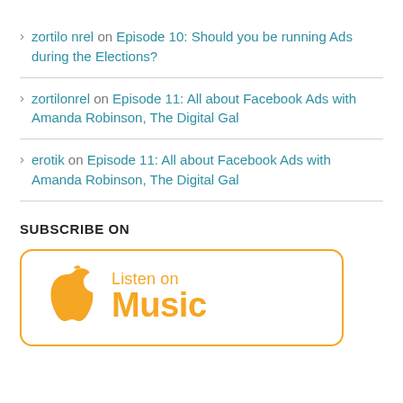zortilo nrel on Episode 10: Should you be running Ads during the Elections?
zortilonrel on Episode 11: All about Facebook Ads with Amanda Robinson, The Digital Gal
erotik on Episode 11: All about Facebook Ads with Amanda Robinson, The Digital Gal
SUBSCRIBE ON
[Figure (logo): Listen on Apple Music badge with orange apple logo and text 'Listen on Music' in orange, outlined with orange rounded rectangle border]